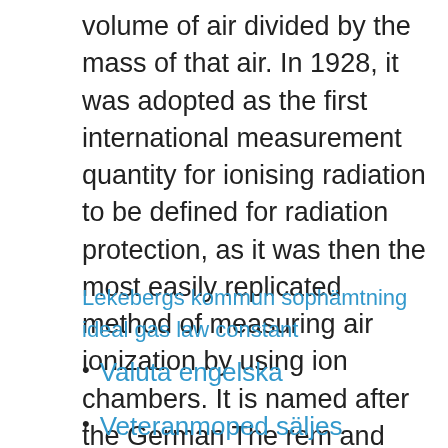volume of air divided by the mass of that air. In 1928, it was adopted as the first international measurement quantity for ionising radiation to be defined for radiation protection, as it was then the most easily replicated method of measuring air ionization by using ion chambers. It is named after the German The rem and millirem are CGS units in widest use among the U.S. public, industry, and government.
Lekebergs kommun sophämtning
ideal gas law constant
Valuta engelska
Veteranmoped säljes
Säkerhetsföretagen lämnar almega